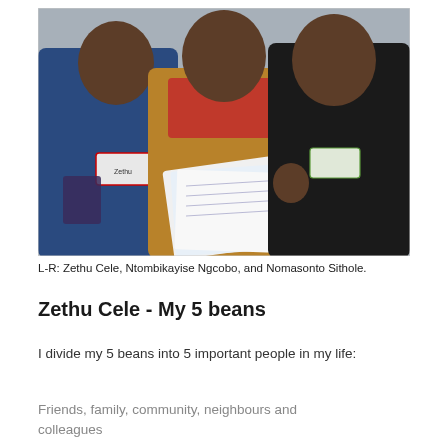[Figure (photo): Three women standing together smiling. Left woman wears a blue jacket and holds a small plastic bag. Center woman holds papers/documents and wears a tan jacket over a red top. Right woman wears a black jacket. All three have name tags. Gray wall background.]
L-R: Zethu Cele, Ntombikayise Ngcobo, and Nomasonto Sithole.
Zethu Cele - My 5 beans
I divide my 5 beans into 5 important people in my life:
Friends, family, community, neighbours and colleagues